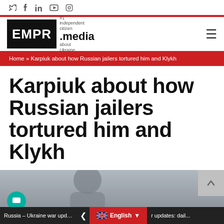Social media icons: Twitter, Facebook, LinkedIn, YouTube, Instagram
[Figure (logo): EMPR.media logo — black box with EMPR in white, beside #1 independent citizen .media about Ukraine]
Breadcrumb: Home » Karpiuk about how Russian jailers tortured him and Klykh
Karpiuk about how Russian jailers tortured him and Klykh
[Figure (photo): Partial photo of two people, blurred, at bottom of page]
Russia – Ukraine war updates: dail... | English | r updates: dail...